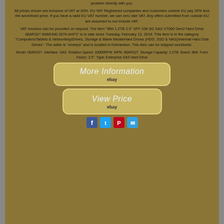problem directly with you.
All prices shown are inclusive of VAT at 20%. EU VAT Registered companies and customers outside EU pay 20% less the advertised price. If you have a valid EU VAT number, we can zero rate VAT. Any offers submitted from outside EU are assumed to not include VAT.
VAT invoices can be provided on request. The item "IBM 1.2TB 2.5" SFF 10K 6G SAS V7000 Gen2 Hard Drive 00AR327 00AR400 2076-AHF3" is in sale since Tuesday, February 13, 2018. This item is in the category "Computers/Tablets & Networking\Drives, Storage & Blank Media\Hard Drives (HDD, SSD & NAS)\Internal Hard Disk Drives". The seller is "viralvps" and is located in Kirknewton. This item can be shipped worldwide.
Model: 00AR327 Interface: SAS Rotation Speed: 10000RPM MPN: 00AR327 Storage Capacity: 1.2TB Brand: IBM Form Factor: 2.5" Type: Enterprise SAS Hard Drive
[Figure (other): Button linking to More Information on eBay with italic script text and eBay logo]
[Figure (other): Button linking to View Price on eBay with italic script text and eBay logo]
[Figure (other): Social sharing icons: Facebook, Twitter, Pinterest, Email]